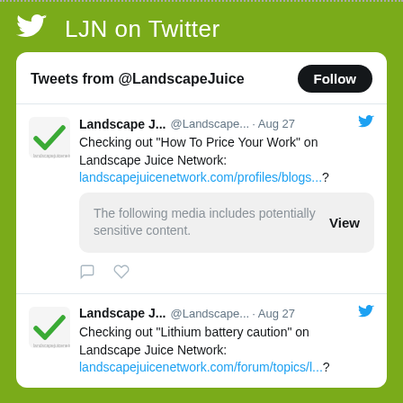LJN on Twitter
Tweets from @LandscapeJuice
Landscape J... @Landscape... · Aug 27
Checking out "How To Price Your Work" on Landscape Juice Network:
landscapejuicenetwork.com/profiles/blogs...?
The following media includes potentially sensitive content.
Landscape J... @Landscape... · Aug 27
Checking out "Lithium battery caution" on Landscape Juice Network:
landscapejuicenetwork.com/forum/topics/l...?